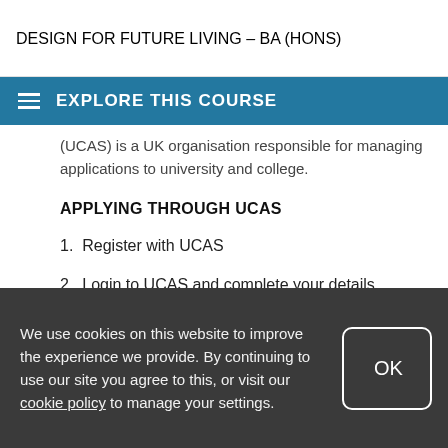DESIGN FOR FUTURE LIVING - BA (HONS)
EXPLORE THIS COURSE
(UCAS) is a UK organisation responsible for managing applications to university and college.
APPLYING THROUGH UCAS
1. Register with UCAS
2. Login to UCAS and complete your details
3. Select your course and write a personal
We use cookies on this website to improve the experience we provide. By continuing to use our site you agree to this, or visit our cookie policy to manage your settings.